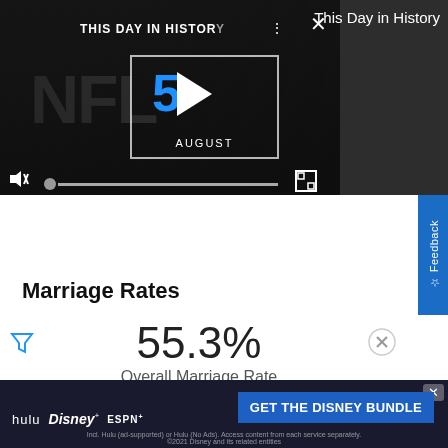[Figure (screenshot): Video player showing 'This Day in History' with NFL imagery, showing August 5, with playback controls including mute, progress bar, and fullscreen button]
This Day in History
Marriage Rates
55.3%
Overall Marriage Rate
[Figure (screenshot): Advertisement banner for Disney Bundle featuring Hulu, Disney+, and ESPN+ logos with 'GET THE DISNEY BUNDLE' button and fine print about subscription terms]